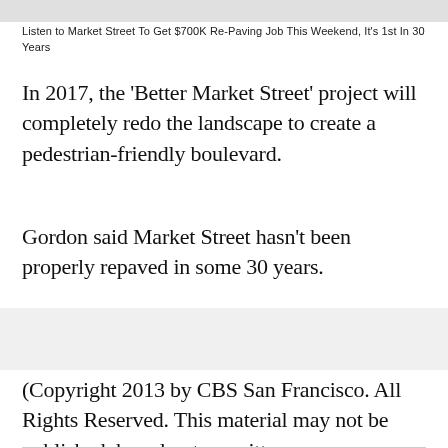Listen to Market Street To Get $700K Re-Paving Job This Weekend, It's 1st In 30 Years
In 2017, the 'Better Market Street' project will completely redo the landscape to create a pedestrian-friendly boulevard.
Gordon said Market Street hasn't been properly repaved in some 30 years.
(Copyright 2013 by CBS San Francisco. All Rights Reserved. This material may not be published, broadcast, rewritten, or redistributed.)